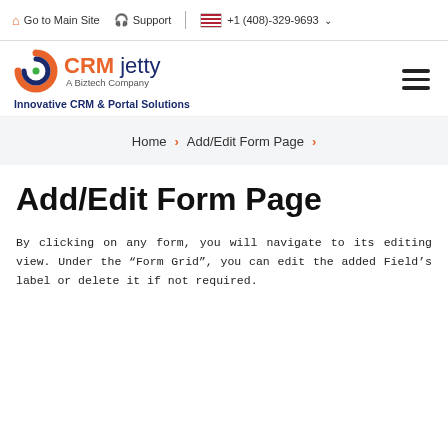Go to Main Site   Support   +1 (408)-329-9693
[Figure (logo): CRM Jetty logo - A Biztech Company, Innovative CRM & Portal Solutions]
Home > Add/Edit Form Page >
Add/Edit Form Page
By clicking on any form, you will navigate to its editing view. Under the “Form Grid”, you can edit the added Field’s label or delete it if not required.